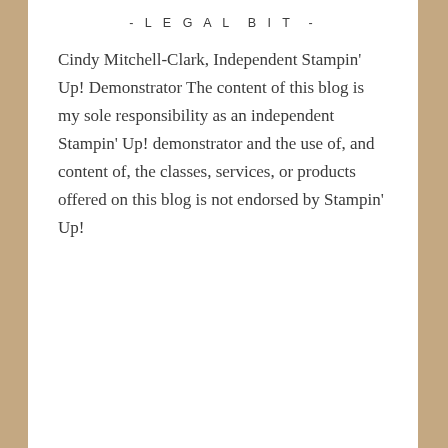- LEGAL BIT -
Cindy Mitchell-Clark, Independent Stampin' Up! Demonstrator The content of this blog is my sole responsibility as an independent Stampin' Up! demonstrator and the use of, and content of, the classes, services, or products offered on this blog is not endorsed by Stampin' Up!
- TOP CLICKS -
blogcarousel.com/?11Jv=10...
l.facebook.com/l.php?u=ht...
cindysstampingcorner.file...